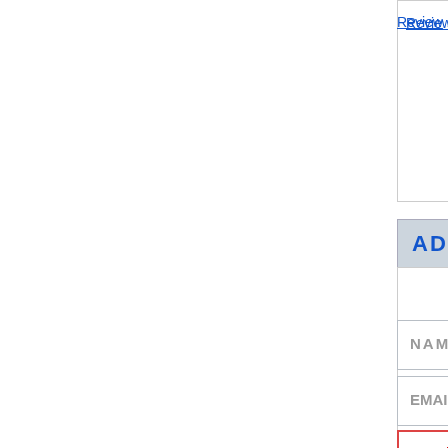Review 10/1...
ADD A C...
NAME
EMAIL (Ad...
Mendel's B...
MESSAGE
COMME...
R...